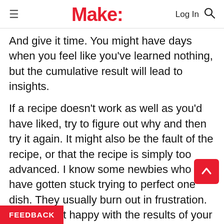Make:
And give it time. You might have days when you feel like you've learned nothing, but the cumulative result will lead to insights.
If a recipe doesn't work as well as you'd have liked, try to figure out why and then try it again. It might also be the fault of the recipe, or that the recipe is simply too advanced. I know some newbies who have gotten stuck trying to perfect one dish. They usually burn out in frustration. If you're not happy with the results of your early attempts, try a different source of rec… Some books, especially those from top-tier restaurateurs such as Chefs Thomas Keller or Grant … highly technical and complicated. Don't begin with these recipes; instead, pick recipes that